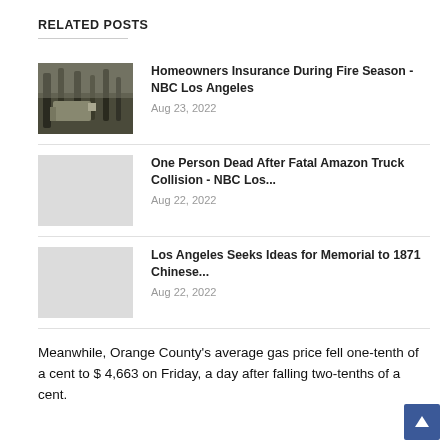RELATED POSTS
Homeowners Insurance During Fire Season - NBC Los Angeles
Aug 23, 2022
One Person Dead After Fatal Amazon Truck Collision - NBC Los...
Aug 22, 2022
Los Angeles Seeks Ideas for Memorial to 1871 Chinese...
Aug 22, 2022
Meanwhile, Orange County’s average gas price fell one-tenth of a cent to $ 4,663 on Friday, a day after falling two-tenths of a cent.